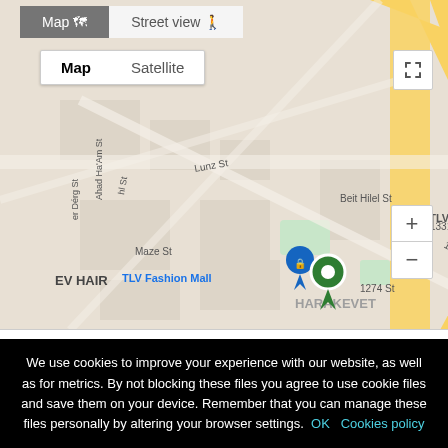[Figure (map): Google Maps view of Tel Aviv area showing TLV Fashion Mall location with surrounding streets including Lunz St, Maze St, 1331 St, 1274 St, Beit Hilel St. Labels visible: Sarona Ma(ll), Gindi TLV, TLV Fashion Mall, EV HAIR, Taizu, MONTEFIOR TEL AVIV, HARAKEVET, LaGuardia Interchange. Map controls: Map/Satellite toggle, Street view button, fullscreen, zoom +/-. Orange pegman figure visible.]
We use cookies to improve your experience with our website, as well as for metrics. By not blocking these files you agree to use cookie files and save them on your device. Remember that you can manage these files personally by altering your browser settings. OK Cookies policy